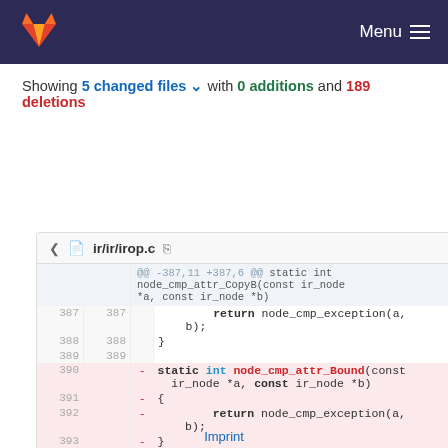Menu
Showing 5 changed files with 0 additions and 189 deletions
ir/ir/irop.c
[Figure (screenshot): Git diff view showing deleted lines 390-394 removing the node_cmp_attr_Bound static function from ir/ir/irop.c]
Imprint